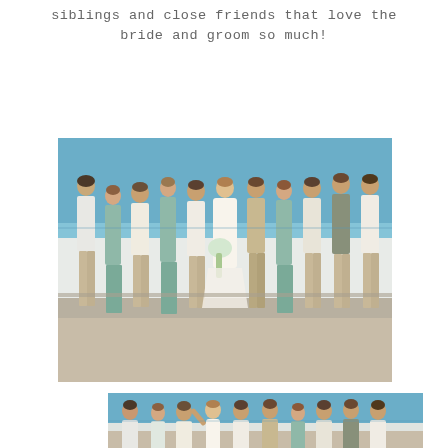siblings and close friends that love the bride and groom so much!
[Figure (photo): A wedding party group photo taken outdoors by the ocean. The full wedding party including bridesmaids in sage/teal dresses and groomsmen in khaki/linen suits, with the bride in a white lace gown holding a bouquet, and groom in a tan suit, all standing on a seaside walkway with blue water in the background.]
[Figure (photo): A candid fun group photo of the same wedding party, partially visible at bottom of page, with people making playful poses by the ocean.]